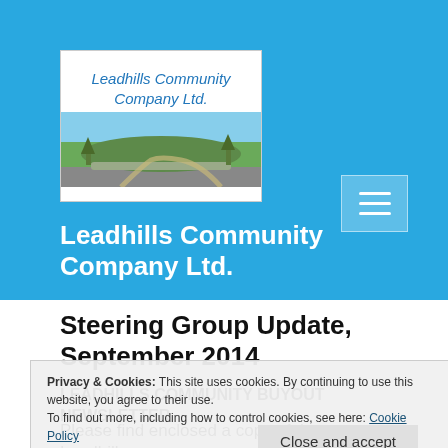[Figure (logo): Leadhills Community Company Ltd. logo with cursive text and landscape photo]
Leadhills Community Company Ltd.
Steering Group Update, September 2014
Privacy & Cookies: This site uses cookies. By continuing to use this website, you agree to their use.
To find out more, including how to control cookies, see here: Cookie Policy
LEADHILLS COMMUNITY BUYOUT NEWSLETTER
Close and accept
Please find enclosed a copy of the Leadhills Community Buyout Newsletter, which includes